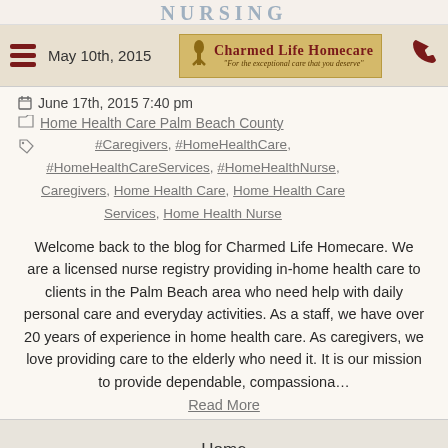NURSING
May 10th, 2015 | Charmed Life Homecare logo | phone icon
June 17th, 2015 7:40 pm
Home Health Care Palm Beach County
#Caregivers, #HomeHealthCare, #HomeHealthCareServices, #HomeHealthNurse, Caregivers, Home Health Care, Home Health Care Services, Home Health Nurse
Welcome back to the blog for Charmed Life Homecare. We are a licensed nurse registry providing in-home health care to clients in the Palm Beach area who need help with daily personal care and everyday activities. As a staff, we have over 20 years of experience in home health care. As caregivers, we love providing care to the elderly who need it. It is our mission to provide dependable, compassiona…
Read More
Home
About Us